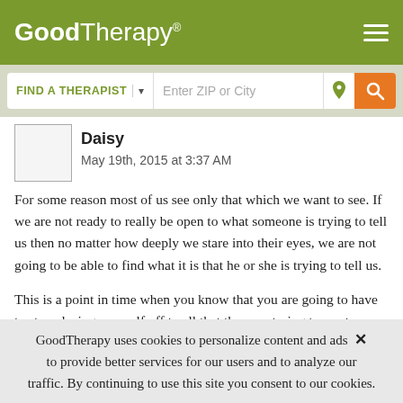GoodTherapy®
FIND A THERAPIST ▾   Enter ZIP or City
Daisy
May 19th, 2015 at 3:37 AM
For some reason most of us see only that which we want to see. If we are not ready to really be open to what someone is trying to tell us then no matter how deeply we stare into their eyes, we are not going to be able to find what it is that he or she is trying to tell us.
This is a point in time when you know that you are going to have to stop closing yourself off to all that they are trying to say to you and…
GoodTherapy uses cookies to personalize content and ads × to provide better services for our users and to analyze our traffic. By continuing to use this site you consent to our cookies.